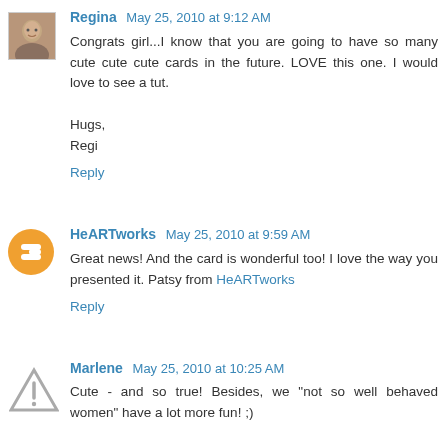Regina May 25, 2010 at 9:12 AM
Congrats girl...I know that you are going to have so many cute cute cute cards in the future. LOVE this one. I would love to see a tut.

Hugs,
Regi
Reply
HeARTworks May 25, 2010 at 9:59 AM
Great news! And the card is wonderful too! I love the way you presented it. Patsy from HeARTworks
Reply
Marlene May 25, 2010 at 10:25 AM
Cute - and so true! Besides, we "not so well behaved women" have a lot more fun! ;)